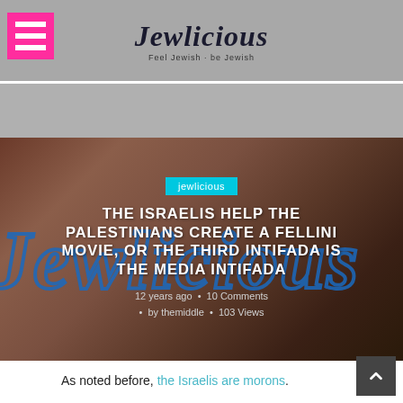Jewlicious
[Figure (screenshot): Hero image with Jewlicious watermark logo in blue script on dark brownish background]
THE ISRAELIS HELP THE PALESTINIANS CREATE A FELLINI MOVIE, OR THE THIRD INTIFADA IS THE MEDIA INTIFADA
12 years ago • 10 Comments • by themiddle • 103 Views
As noted before, the Israelis are morons.